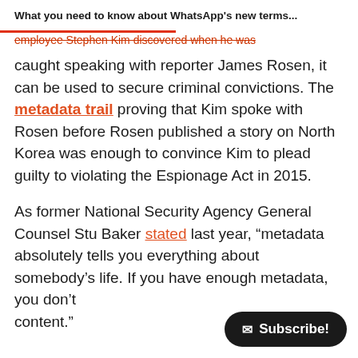What you need to know about WhatsApp's new terms...
employee Stephen Kim discovered when he was caught speaking with reporter James Rosen, it can be used to secure criminal convictions. The metadata trail proving that Kim spoke with Rosen before Rosen published a story on North Korea was enough to convince Kim to plead guilty to violating the Espionage Act in 2015.
As former National Security Agency General Counsel Stu Baker stated last year, “metadata absolutely tells you everything about somebody’s life. If you have enough metadata, you don’t need content.”